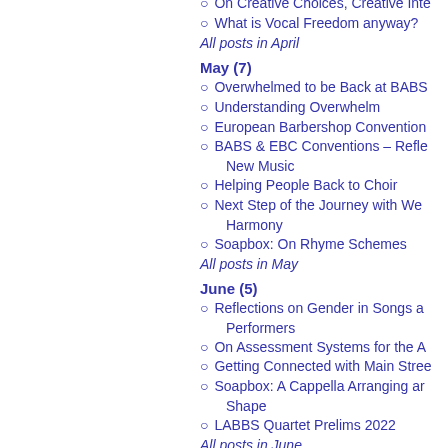On Creative Choices, Creative Inte…
What is Vocal Freedom anyway?
All posts in April
May (7)
Overwhelmed to be Back at BABS
Understanding Overwhelm
European Barbershop Convention…
BABS & EBC Conventions – Refle… New Music
Helping People Back to Choir
Next Step of the Journey with We… Harmony
Soapbox: On Rhyme Schemes
All posts in May
June (5)
Reflections on Gender in Songs a… Performers
On Assessment Systems for the A…
Getting Connected with Main Stree…
Soapbox: A Cappella Arranging ar… Shape
LABBS Quartet Prelims 2022
All posts in June
2021 (58 posts)
January (6)
Performance and Skill-Developme…
Thoughts on Barbershop and Mu…